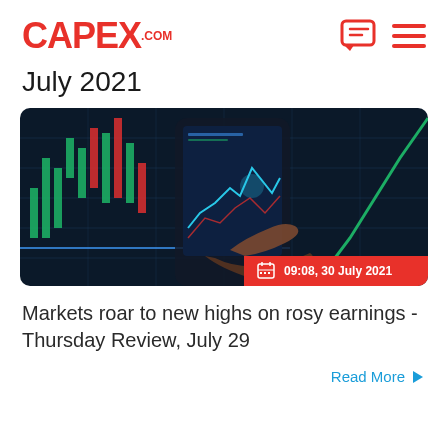CAPEX.COM
July 2021
[Figure (photo): A hand holding a smartphone displaying stock market charts, with a stock trading chart visible in the background on a screen. Date badge shows 09:08, 30 July 2021.]
Markets roar to new highs on rosy earnings - Thursday Review, July 29
Read More ▶